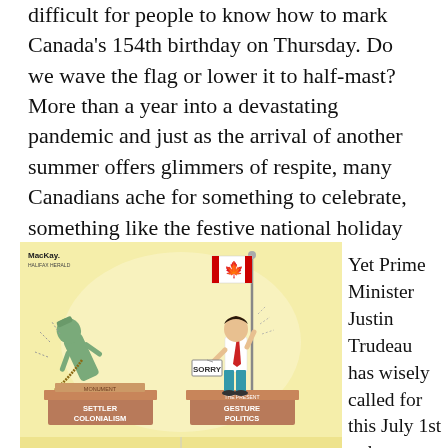difficult for people to know how to mark Canada's 154th birthday on Thursday. Do we wave the flag or lower it to half-mast? More than a year into a devastating pandemic and just as the arrival of another summer offers glimmers of respite, many Canadians ache for something to celebrate, something like the festive national holiday they've cherished in years past.
[Figure (illustration): Editorial cartoon by MacKay showing two pedestals side by side. Left pedestal labeled 'SETTLER COLONIALISM' has a toppling statue being pulled down with a rope. Right pedestal labeled 'GESTURE POLITICS' (also labeled 'THE PRESENT') shows a figure resembling Justin Trudeau holding a Canadian flag with a 'SORRY' sign, struggling to keep it raised. Artist signature 'MacKay' and 'HALIFAX HERALD' in top left corner.]
Yet Prime Minister Justin Trudeau has wisely called for this July 1st to be a more